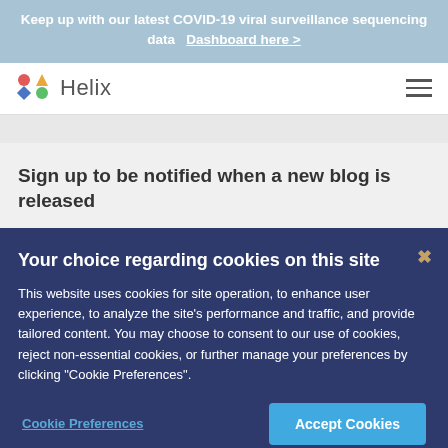Keep up with our latest COVID-19 viral surveillance sequencing data   Dashboard here >
[Figure (logo): Helix logo with colorful dot grid and text 'Helix']
Sign up to be notified when a new blog is released
Your choice regarding cookies on this site
This website uses cookies for site operation, to enhance user experience, to analyze the site's performance and traffic, and provide tailored content. You may choose to consent to our use of cookies, reject non-essential cookies, or further manage your preferences by clicking "Cookie Preferences".
Cookie Preferences   Accept Cookies